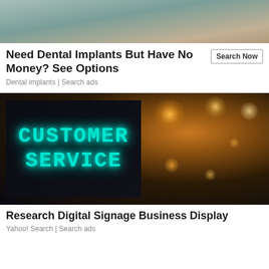[Figure (photo): Partial photo of a person holding something, background of first ad]
Need Dental Implants But Have No Money? See Options
Dental implants | Search ads   Search Now
[Figure (photo): Dark background photo with glowing teal CUSTOMER SERVICE text on a digital sign, warm bokeh lights in background]
Research Digital Signage Business Display
Yahoo! Search | Search ads